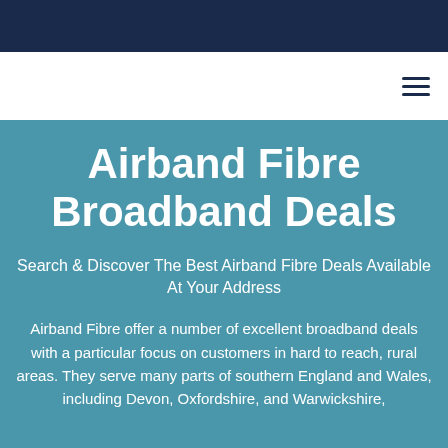Airband Fibre Broadband Deals
Search & Discover The Best Airband Fibre Deals Available At Your Address
Airband Fibre offer a number of excellent broadband deals with a particular focus on customers in hard to reach, rural areas. They serve many parts of southern England and Wales, including Devon, Oxfordshire, and Warwickshire,